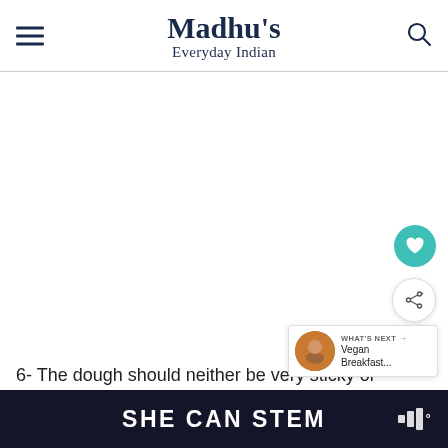Madhu's Everyday Indian
[Figure (screenshot): Large white/blank content area in the middle of the page, representing an image or ad placeholder]
6- The dough should neither be very sticky or crumbly. If it is very sticky pop in the re...
SHE CAN STEM